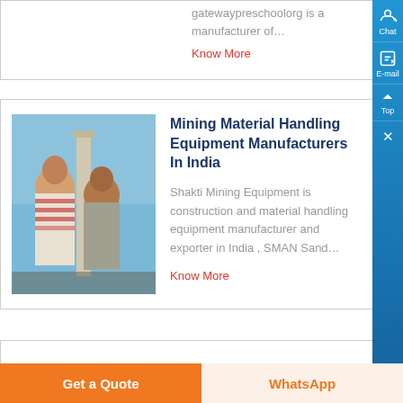gatewaypreschoolorg is a manufacturer of…
Know More
Mining Material Handling Equipment Manufacturers In India
[Figure (photo): Two people standing outdoors near a tall structure, blue sky background]
Shakti Mining Equipment is construction and material handling equipment manufacturer and exporter in India , SMAN Sand…
Know More
Get a Quote
WhatsApp